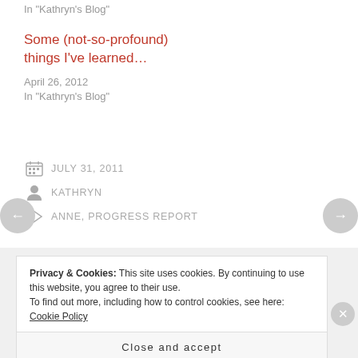In "Kathryn's Blog"
Some (not-so-profound) things I've learned…
April 26, 2012
In "Kathryn's Blog"
JULY 31, 2011
KATHRYN
ANNE, PROGRESS REPORT
Privacy & Cookies: This site uses cookies. By continuing to use this website, you agree to their use. To find out more, including how to control cookies, see here: Cookie Policy
Close and accept